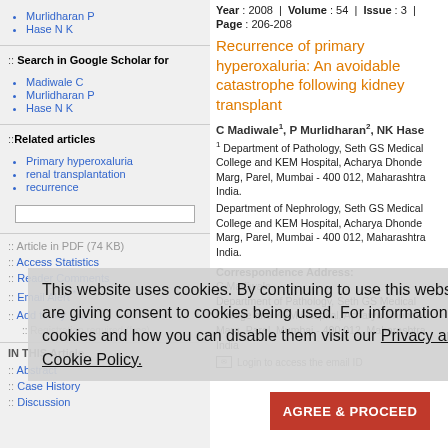Murlidharan P
Hase N K
:: Search in Google Scholar for
Madiwale C
Murlidharan P
Hase N K
::Related articles
Primary hyperoxaluria
renal transplantation
recurrence
:: Article in PDF (74 KB)
:: Access Statistics
:: Reader Comments
:: Email Alert *
:: Add to My List *
:: Registration required (free)
IN THIS Article
:: Abstract
:: Case History
:: Discussion
Year : 2008  |  Volume : 54  |  Issue : 3  |
Page : 206-208
Recurrence of primary hyperoxaluria: An avoidable catastrophe following kidney transplant
C Madiwale1, P Murlidharan2, NK Hase
1 Department of Pathology, Seth GS Medical College and KEM Hospital, Acharya Dhonde Marg, Parel, Mumbai - 400 012, Maharashtra India.
2 Department of Nephrology, Seth GS Medical College and KEM Hospital, Acharya Dhonde Marg, Parel, Mumbai - 400 012, Maharashtra India.
Correspondence Address:
C Madiwale
Department of Pathology, Seth GS Medical College and KEM Hospital, Acharya Dhonde Marg, Parel, Mumbai - 400 012, Maharashtra India
Login to access the email ID
This website uses cookies. By continuing to use this website you are giving consent to cookies being used. For information on cookies and how you can disable them visit our Privacy and Cookie Policy.